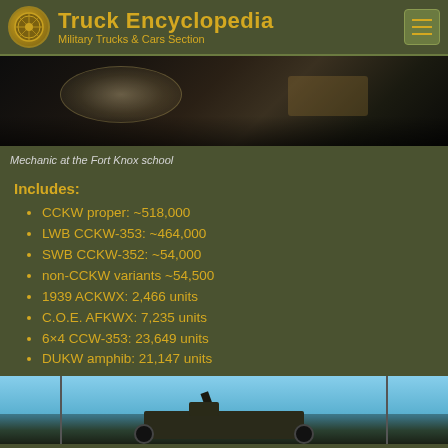Truck Encyclopedia — Military Trucks & Cars Section
[Figure (photo): Close-up photo of a military truck/vehicle, dark tones, mechanic working at Fort Knox school]
Mechanic at the Fort Knox school
Includes:
CCKW proper: ~518,000
LWB CCKW-353: ~464,000
SWB CCKW-352: ~54,000
non-CCKW variants ~54,500
1939 ACKWX: 2,466 units
C.O.E. AFKWX: 7,235 units
6×4 CCW-353: 23,649 units
DUKW amphib: 21,147 units
[Figure (photo): Military vehicle (HMMWV/Humvee type) photographed outdoors against blue sky]